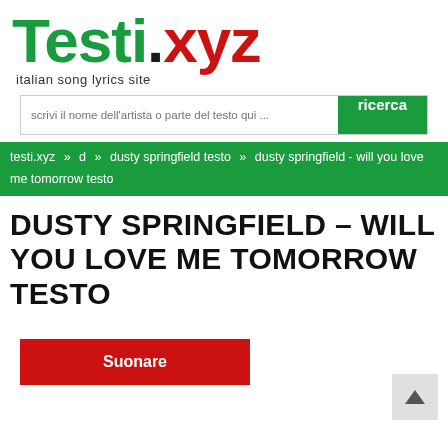[Figure (logo): Testi.xyz logo with green 'Testi', black dot, red 'xyz', and subtitle 'italian song lyrics site']
scrivi il nome dell'artista o parte del testo qui ...
ricerca
testi.xyz » d » dusty springfield testo » dusty springfield - will you love me tomorrow testo
DUSTY SPRINGFIELD – WILL YOU LOVE ME TOMORROW TESTO
Suonare